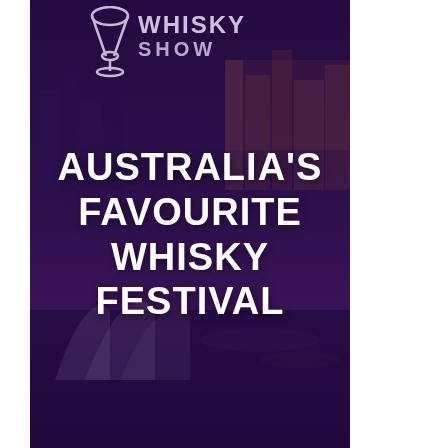[Figure (illustration): Whisky Show festival promotional poster. Dark purple overlay on a Sydney cityscape with Opera House visible. Top section shows a martini/whisky glass icon and the text 'WHISKY SHOW' in light purple/grey. Center text reads 'AUSTRALIA'S FAVOURITE WHISKY FESTIVAL' in large bold white capital letters.]